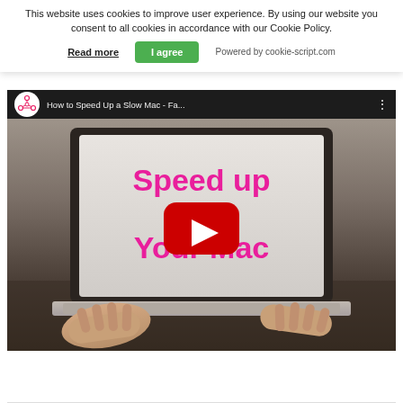This website uses cookies to improve user experience. By using our website you consent to all cookies in accordance with our Cookie Policy.
Read more | I agree | Powered by cookie-script.com
[Figure (screenshot): YouTube video thumbnail showing 'How to Speed Up a Slow Mac - Fa...' with pink bold text 'Speed up Your Mac' on a laptop screen image and a YouTube play button overlay.]